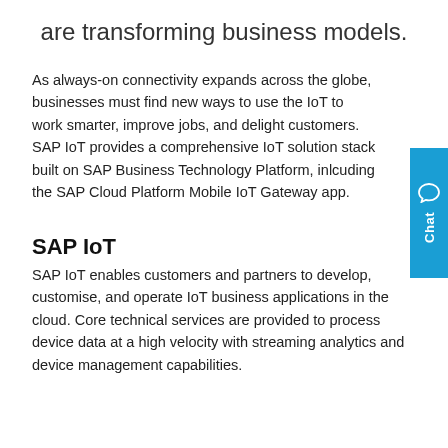are transforming business models.
As always-on connectivity expands across the globe, businesses must find new ways to use the IoT to work smarter, improve jobs, and delight customers. SAP IoT provides a comprehensive IoT solution stack built on SAP Business Technology Platform, inlcuding the SAP Cloud Platform Mobile IoT Gateway app.
SAP IoT
SAP IoT enables customers and partners to develop, customise, and operate IoT business applications in the cloud. Core technical services are provided to process device data at a high velocity with streaming analytics and device management capabilities.